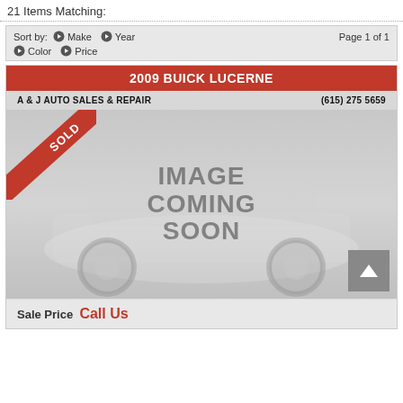21 Items Matching:
Sort by:  Make  Year  Page 1 of 1  Color  Price
2009 BUICK LUCERNE
A & J AUTO SALES & REPAIR   (615) 275 5659
[Figure (photo): Placeholder image showing a car with text IMAGE COMING SOON and a SOLD ribbon banner in the top-left corner]
Sale Price  Call Us